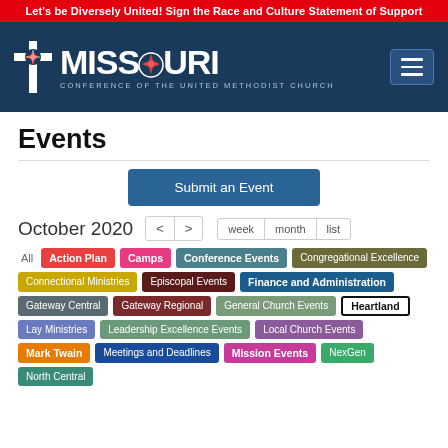Let's be Diversely United! Sign the Race and Culture Statement of Support
[Figure (logo): Missouri Conference of the United Methodist Church logo with cross and compass star]
Events
Submit an Event
October 2020
All
Action Plan
Camps
Conference Events
Congregational Excellence
Connectional Ministries
Episcopal Events
Finance and Administration
Gateway Central
Gateway Regional
General Church Events
Heartland
Lay Ministries
Leadership Excellence Events
Local Church Events
Mark Twain
Meetings and Deadlines
Mission Events
NexGen
North Central